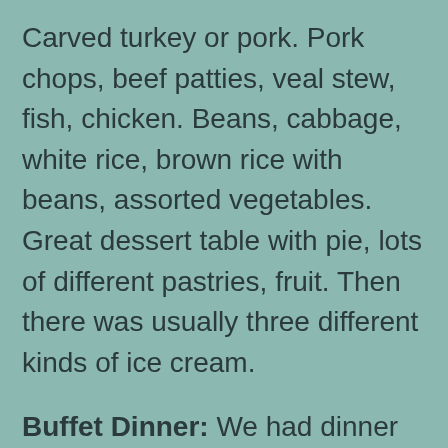Carved turkey or pork. Pork chops, beef patties, veal stew, fish, chicken. Beans, cabbage, white rice, brown rice with beans, assorted vegetables. Great dessert table with pie, lots of different pastries, fruit. Then there was usually three different kinds of ice cream.
Buffet Dinner: We had dinner on most occasions at the buffet. It was similar food to lunchtime. Usually they had a carving station with either turkey, pork, lamb, fish, and on one occasion beef. And then they had an assortment of vegetables. Two kinds of soup. Lots of breads. Also white rice or brown rice